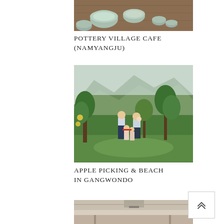[Figure (photo): Top portion of a photo showing ceramic pottery bowls and cups arranged on a wooden table surface]
POTTERY VILLAGE CAFE (NAMYANGJU)
[Figure (photo): A family of four standing in an apple orchard with green trees and mountains in the background. Two adults and two children posing on grass.]
APPLE PICKING & BEACH IN GANGWONDO
[Figure (photo): Bottom portion of a photo showing what appears to be an interior space with ceiling and furniture]